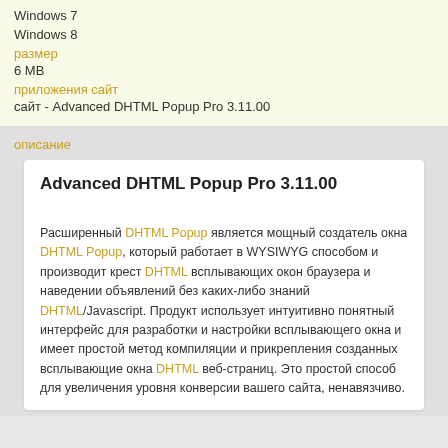Windows 7
Windows 8
размер
6 MB
приложения сайт
сайт - Advanced DHTML Popup Pro 3.11.00
описание
Advanced DHTML Popup Pro 3.11.00
Расширенный DHTML Popup является мощный создатель окна DHTML Popup, который работает в WYSIWYG способом и производит крест DHTML всплывающих окон браузера и наведении объявлений без каких-либо знаний DHTML/Javascript. Продукт использует интуитивно понятный интерфейс для разработки и настройки всплывающего окна и имеет простой метод компиляции и прикрепления созданных всплывающие окна DHTML веб-страниц. Это простой способ для увеличения уровня конверсии вашего сайта, ненавязчиво.